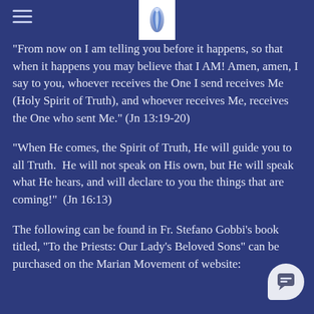spirit of Truth, for the infilling of His Presence within us, during His promised New Worldwide Pentecost!
"From now on I am telling you before it happens, so that when it happens you may believe that I AM! Amen, amen, I say to you, whoever receives the One I send receives Me (Holy Spirit of Truth), and whoever receives Me, receives the One who sent Me." (Jn 13:19-20)
"When He comes, the Spirit of Truth, He will guide you to all Truth. He will not speak on His own, but He will speak what He hears, and will declare to you the things that are coming!" (Jn 16:13)
The following can be found in Fr. Stefano Gobbi's book titled, "To the Priests: Our Lady's Beloved Sons" can be purchased on the Marian Movement of website: